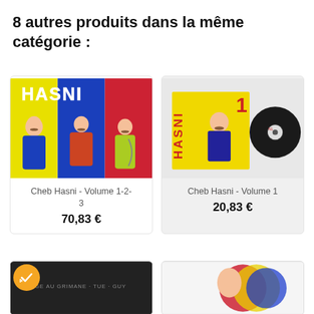8 autres produits dans la même catégorie :
[Figure (illustration): Album cover for Cheb Hasni Volume 1-2-3: three illustrated figures on yellow, blue and red vertical stripe backgrounds with HASNI text at top]
Cheb Hasni - Volume 1-2-3
70,83 €
[Figure (illustration): Album cover for Cheb Hasni Volume 1: illustrated figure on yellow background with vinyl record, HASNI vertical text in red, number 1 in top right]
Cheb Hasni - Volume 1
20,83 €
[Figure (illustration): Partial album cover at bottom left with a golden checkmark badge overlay]
[Figure (illustration): Partial album cover at bottom right showing colorful circular designs]